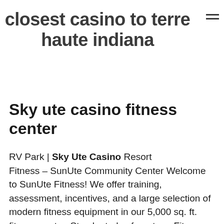closest casino to terre haute indiana
Sky ute casino fitness center
RV Park | Sky Ute Casino Resort
Fitness – SunUte Community Center Welcome to SunUte Fitness! We offer training, assessment, incentives, and a large selection of modern fitness equipment in our 5,000 sq. ft. fitness center. Stop by today for a tour. Fitness Assessment. Are you as